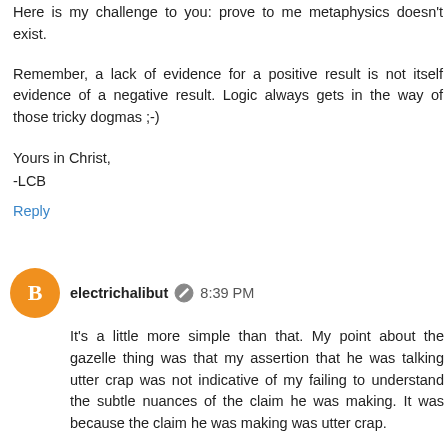Here is my challenge to you: prove to me metaphysics doesn't exist.
Remember, a lack of evidence for a positive result is not itself evidence of a negative result. Logic always gets in the way of those tricky dogmas ;-)
Yours in Christ,
-LCB
Reply
electrichalibut 8:39 PM
It's a little more simple than that. My point about the gazelle thing was that my assertion that he was talking utter crap was not indicative of my failing to understand the subtle nuances of the claim he was making. It was because the claim he was making was utter crap.
As for the rest, metaphysics, angels on the head of a pin yadda yadda yadda. It's interesting in a sense to observe the Church's gradual retreat from "no it really IS Jesus" to